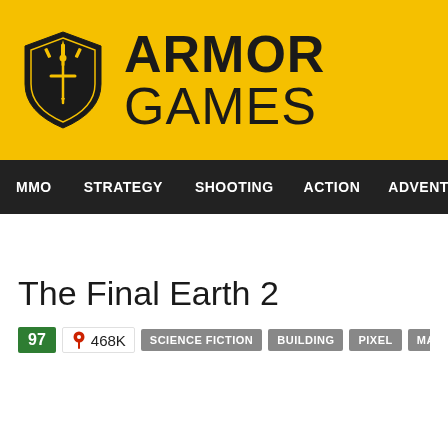ARMOR GAMES
MMO  STRATEGY  SHOOTING  ACTION  ADVENTURE  P
The Final Earth 2
97  468K  SCIENCE FICTION  BUILDING  PIXEL  MANAGEMENT  STRATE